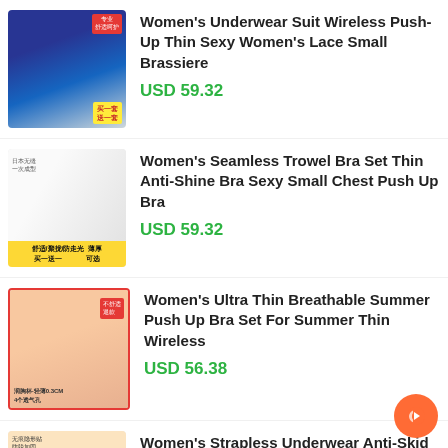[Figure (photo): Product photo of a blue lace push-up bra with promotional badge]
Women's Underwear Suit Wireless Push-Up Thin Sexy Women's Lace Small Brassiere
USD 59.32
[Figure (photo): Product photo of black and beige seamless bras with Chinese text badge]
Women's Seamless Trowel Bra Set Thin Anti-Shine Bra Sexy Small Chest Push Up Bra
USD 59.32
[Figure (photo): Product photo of beige ultra-thin breathable bra with red border and Chinese text]
Women's Ultra Thin Breathable Summer Push Up Bra Set For Summer Thin Wireless
USD 56.38
[Figure (photo): Product photo of strapless underwear with a model and promotional badge]
Women's Strapless Underwear Anti-Skid Push Up Small Breast Wrapped Breast Patch No Steel
USD 53.43